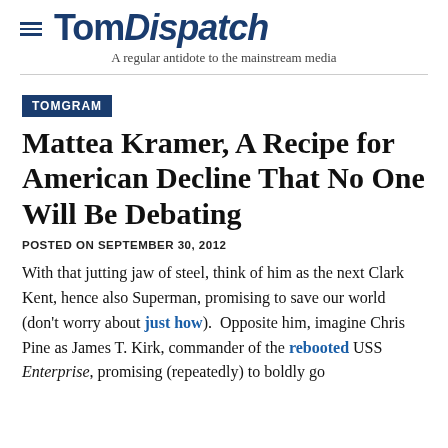TomDispatch — A regular antidote to the mainstream media
TOMGRAM
Mattea Kramer, A Recipe for American Decline That No One Will Be Debating
POSTED ON SEPTEMBER 30, 2012
With that jutting jaw of steel, think of him as the next Clark Kent, hence also Superman, promising to save our world (don't worry about just how). Opposite him, imagine Chris Pine as James T. Kirk, commander of the rebooted USS Enterprise, promising (repeatedly) to boldly go